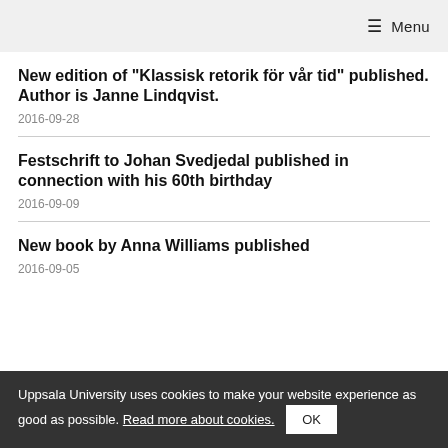≡ Menu
New edition of "Klassisk retorik för vår tid" published. Author is Janne Lindqvist.
2016-09-28
Festschrift to Johan Svedjedal published in connection with his 60th birthday
2016-09-09
New book by Anna Williams published
2016-09-05
Uppsala University uses cookies to make your website experience as good as possible. Read more about cookies. OK